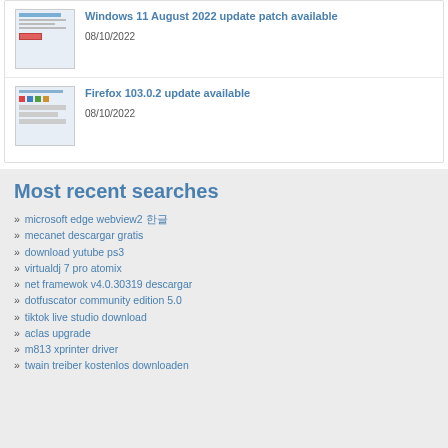[Figure (screenshot): Thumbnail screenshot of Windows 11 update settings page]
Windows 11 August 2022 update patch available
08/10/2022
[Figure (screenshot): Thumbnail screenshot of Firefox browser window]
Firefox 103.0.2 update available
08/10/2022
Most recent searches
microsoft edge webview2 한글
mecanet descargar gratis
download yutube ps3
virtualdj 7 pro atomix
net framewok v4.0.30319 descargar
dotfuscator community edition 5.0
tiktok live studio download
aclas upgrade
m813 xprinter driver
twain treiber kostenlos downloaden